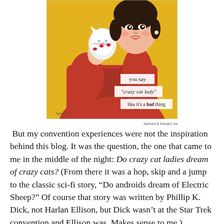[Figure (illustration): Retro vintage illustration of a woman in a red jacket holding a white cat against a yellow background, with text overlays reading: 'you say', '"crazy cat lady"', 'like it's a bad thing']
Ashford & Kincaid, Inc.
But my convention experiences were not the inspiration behind this blog. It was the question, the one that came to me in the middle of the night: Do crazy cat ladies dream of crazy cats? (From there it was a hop, skip and a jump to the classic sci-fi story, “Do androids dream of Electric Sheep?” Of course that story was written by Phillip K. Dick, not Harlan Ellison, but Dick wasn’t at the Star Trek convention and Ellison was. Makes sense to me.)